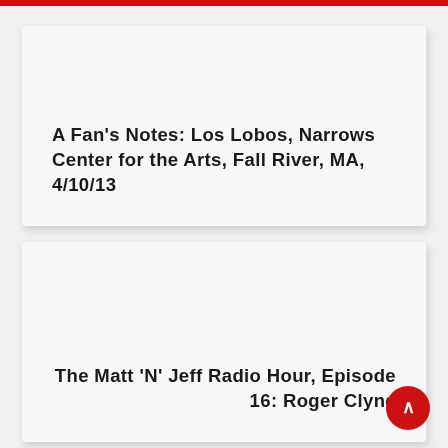A Fan's Notes: Los Lobos, Narrows Center for the Arts, Fall River, MA, 4/10/13
The Matt 'N' Jeff Radio Hour, Episode 16: Roger Clyne